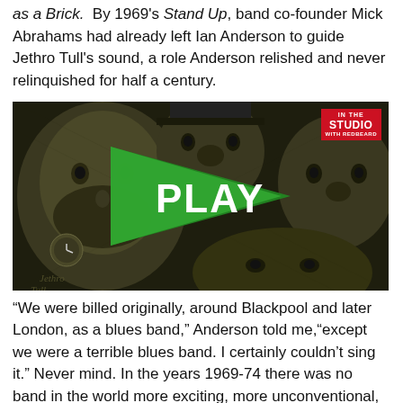as a Brick.  By 1969's Stand Up, band co-founder Mick Abrahams had already left Ian Anderson to guide Jethro Tull's sound, a role Anderson relished and never relinquished for half a century.
[Figure (photo): Illustrated artwork showing Jethro Tull band members as a stylized drawing with a green play button overlay and 'PLAY' text in the center. An 'In The Studio' logo badge appears in the top right corner.]
“We were billed originally, around Blackpool and later London, as a blues band,” Anderson told me,“except we were a terrible blues band. I certainly couldn't sing it.” Never mind. In the years 1969-74 there was no band in the world more exciting, more unconventional, and more successful than Jethro Tull. With back-